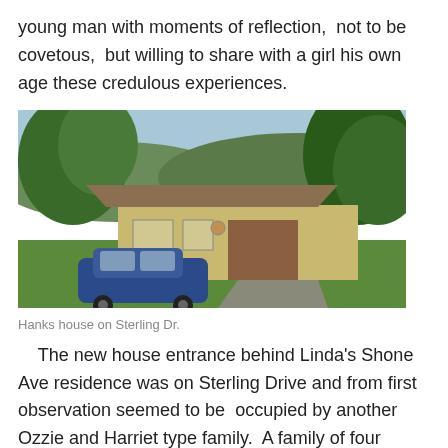young man with moments of reflection,  not to be covetous,  but willing to share with a girl his own age these credulous experiences.
[Figure (photo): Street-level photograph of a single-story ranch house on Sterling Drive, with large trees on either side, green lawn, and a vintage blue car parked in front.]
Hanks house on Sterling Dr.
The new house entrance behind Linda's Shone Ave residence was on Sterling Drive and from first observation seemed to be  occupied by another Ozzie and Harriet type family.  A family of four taking up